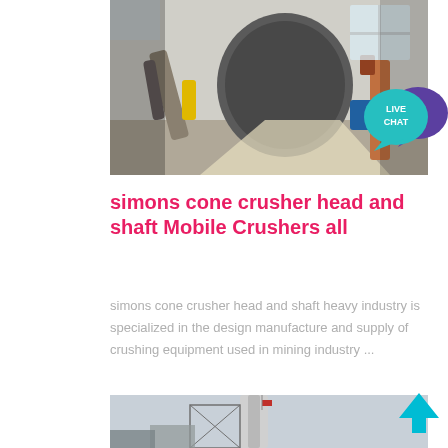[Figure (photo): Industrial machinery — large cylindrical drum/mill in a factory setting with steel equipment and natural light from windows]
[Figure (illustration): Live Chat button — teal speech bubble with 'LIVE CHAT' text and purple speech bubble behind]
simons cone crusher head and shaft Mobile Crushers all
simons cone crusher head and shaft heavy industry is specialized in the design manufacture and supply of crushing equipment used in mining industry ...
[Figure (photo): Industrial tower/silo structure against gray sky, partial view of cement plant or similar facility]
[Figure (illustration): Cyan/teal upward arrow icon in bottom right corner]